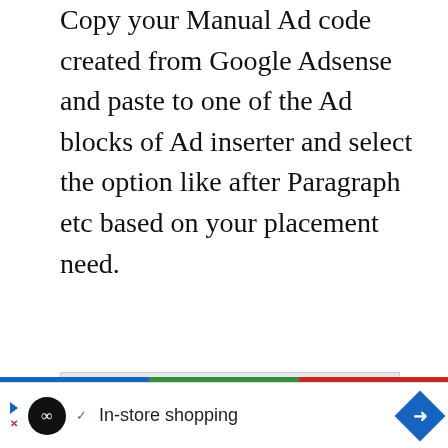Copy your Manual Ad code created from Google Adsense and paste to one of the Ad blocks of Ad inserter and select the option like after Paragraph etc based on your placement need.
[Figure (screenshot): Screenshot of Ad Inserter plugin block editor showing Block 2 with a dark code editor containing Google AdSense ad code snippet with green/red syntax highlighting]
[Figure (infographic): Advertisement banner showing an infinity logo, checkmark, 'In-store shopping' text, and a blue navigation arrow diamond icon]